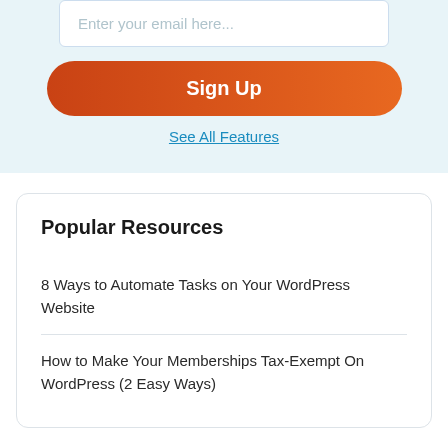Enter your email here...
Sign Up
See All Features
Popular Resources
8 Ways to Automate Tasks on Your WordPress Website
How to Make Your Memberships Tax-Exempt On WordPress (2 Easy Ways)